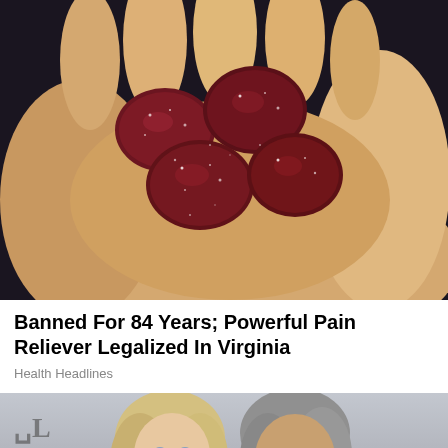[Figure (photo): A hand holding several dark red/maroon sugary gummy candies against a dark background]
Banned For 84 Years; Powerful Pain Reliever Legalized In Virginia
Health Headlines
[Figure (photo): A couple — a blonde woman and an older man with gray hair — photographed in front of an AT&T branded backdrop]